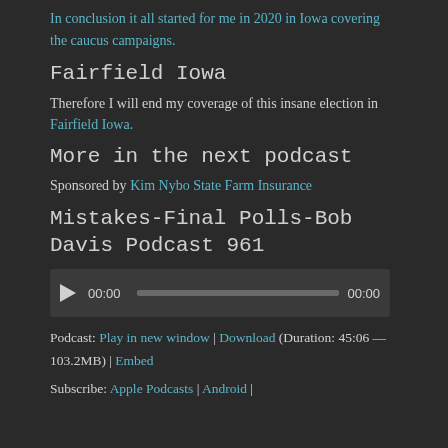In conclusion it all started for me in 2020 in Iowa covering the caucus campaigns.
Fairfield Iowa
Therefore I will end my coverage of this insane election in Fairfield Iowa.
More in the next podcast
Sponsored by Kim Nybo State Farm Insurance
Mistakes-Final Polls-Bob Davis Podcast 961
[Figure (other): Audio player widget showing play button, 00:00 start time, progress bar, and 00:00 end time on a dark background]
Podcast: Play in new window | Download (Duration: 45:06 — 103.2MB) | Embed
Subscribe: Apple Podcasts | Android |